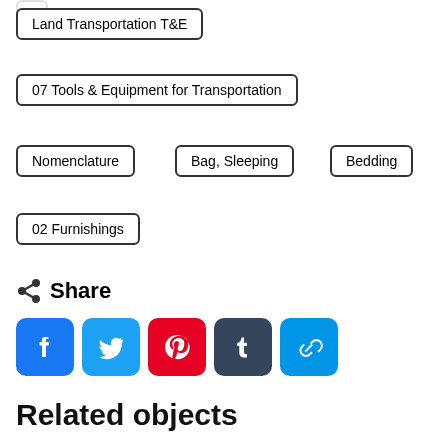Land Transportation T&E
07 Tools & Equipment for Transportation
Nomenclature
Bag, Sleeping
Bedding
02 Furnishings
Share
[Figure (infographic): Social share buttons: Facebook, Twitter, Pinterest, Tumblr, Link]
Related objects